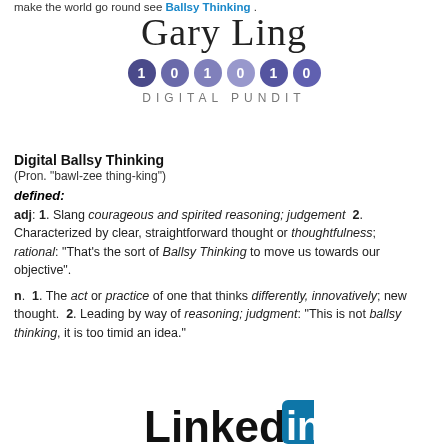make the world go round see Ballsy Thinking .
[Figure (logo): Gary Ling Digital Pundit logo with name in large serif font, six binary digit circles (1,0,1,0,1,0) in purple/blue gradient, and 'DIGITAL PUNDIT' in spaced sans-serif text]
Digital Ballsy Thinking
(Pron. "bawl-zee thing-king")
defined:
adj: 1. Slang courageous and spirited reasoning; judgement  2. Characterized by clear, straightforward thought or thoughtfulness; rational: "That's the sort of Ballsy Thinking to move us towards our objective".
n.  1. The act or practice of one that thinks differently, innovatively; new thought.  2. Leading by way of reasoning; judgment: "This is not ballsy thinking, it is too timid an idea."
[Figure (logo): LinkedIn logo partially visible at bottom of page]